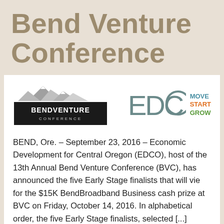Bend Venture Conference
[Figure (logo): BendVenture Conference logo with mountain graphic above black rectangle containing text 'BENDVENTURE CONFERENCE']
[Figure (logo): EDCO logo with circular letters 'EDCO' in teal and 'MOVE START GROW' in blue, orange, and green text]
BEND, Ore. – September 23, 2016 – Economic Development for Central Oregon (EDCO), host of the 13th Annual Bend Venture Conference (BVC), has announced the five Early Stage finalists that will vie for the $15K BendBroadband Business cash prize at BVC on Friday, October 14, 2016. In alphabetical order, the five Early Stage finalists, selected [...]